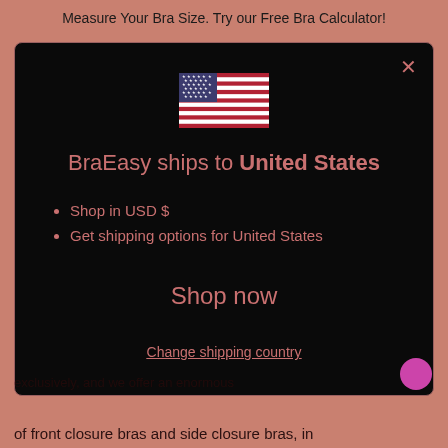Measure Your Bra Size. Try our Free Bra Calculator!
[Figure (screenshot): Modal popup on a salmon/rose background showing a US flag, text 'BraEasy ships to United States', bullet points for USD and shipping options, a 'Shop now' button, and a 'Change shipping country' link. Black background modal with dark red/salmon colored text. An X close button is in the top right corner.]
of front closure bras and side closure bras, in